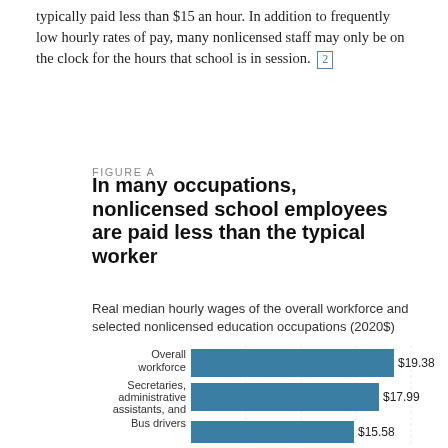typically paid less than $15 an hour. In addition to frequently low hourly rates of pay, many nonlicensed staff may only be on the clock for the hours that school is in session. [2]
FIGURE A
In many occupations, nonlicensed school employees are paid less than the typical worker
Real median hourly wages of the overall workforce and selected nonlicensed education occupations (2020$)
[Figure (bar-chart): In many occupations, nonlicensed school employees are paid less than the typical worker]